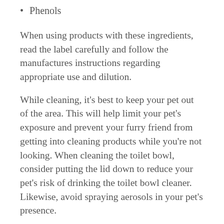Phenols
When using products with these ingredients, read the label carefully and follow the manufactures instructions regarding appropriate use and dilution.
While cleaning, it's best to keep your pet out of the area. This will help limit your pet's exposure and prevent your furry friend from getting into cleaning products while you're not looking. When cleaning the toilet bowl, consider putting the lid down to reduce your pet's risk of drinking the toilet bowl cleaner. Likewise, avoid spraying aerosols in your pet's presence.
Not only can cleaning products be toxic if consumed, but they can also cause chemical burns. It's best to avoid using harsh cleaning products in areas that your pet frequents. When you are done cleaning, make sure all cleaning products are safely stored out